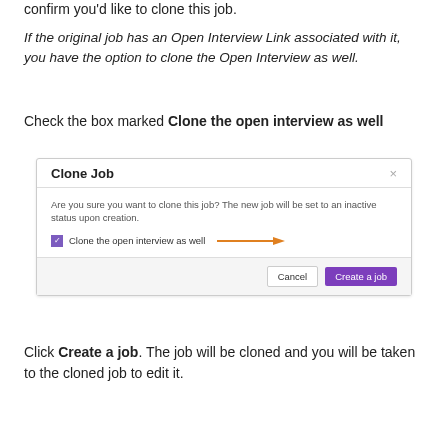confirm you'd like to clone this job.
If the original job has an Open Interview Link associated with it, you have the option to clone the Open Interview as well.
Check the box marked Clone the open interview as well
[Figure (screenshot): Clone Job dialog box showing a checkbox 'Clone the open interview as well' with an orange arrow pointing to it, and Cancel / Create a job buttons at the bottom]
Click Create a job. The job will be cloned and you will be taken to the cloned job to edit it.